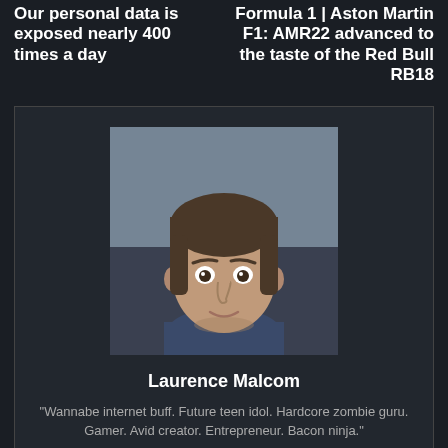Our personal data is exposed nearly 400 times a day
Formula 1 | Aston Martin F1: AMR22 advanced to the taste of the Red Bull RB18
[Figure (photo): Author photo of Laurence Malcom, a young man with short dark hair]
Laurence Malcom
"Wannabe internet buff. Future teen idol. Hardcore zombie guru. Gamer. Avid creator. Entrepreneur. Bacon ninja."
RELATED ARTICLES
MORE FROM AUTHOR
Scientists have found a mysterious